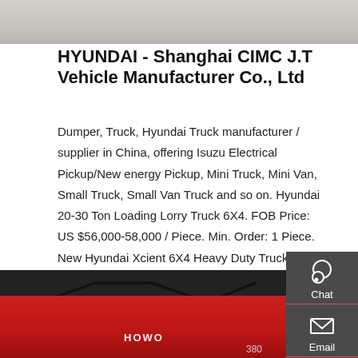[Figure (photo): Top portion of a light gray/beige textured concrete or stone surface image]
HYUNDAI - Shanghai CIMC J.T Vehicle Manufacturer Co., Ltd
Dumper, Truck, Hyundai Truck manufacturer / supplier in China, offering Isuzu Electrical Pickup/New energy Pickup, Mini Truck, Mini Van, Small Truck, Small Van Truck and so on. Hyundai 20-30 Ton Loading Lorry Truck 6X4. FOB Price: US $56,000-58,000 / Piece. Min. Order: 1 Piece. New Hyundai Xcient 6X4 Heavy Duty Truck with Best Price for
[Figure (screenshot): Sidebar with dark gray background showing Chat, Email, Contact, and Top navigation icons in white]
Get a Quote
[Figure (photo): Front top view of a red HOWO truck cab showing windshield wipers and the HOWO logo, with the number 380 visible]